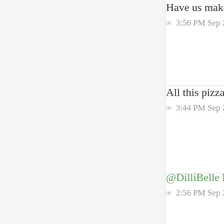Have us make your next awesome web
∞  3:56 PM Sep 2nd 2011
All this pizza talk at @miranjdesign H0 Street, Hardware Lane and that one tim
∞  3:44 PM Sep 2nd 2011
@DilliBelle I hope it's for not liking th
∞  2:56 PM Sep 2nd 2011 in reply to DilliBelle
Full-on Atif Aslam on the @miranjdesi
∞  2:51 PM Sep 2nd 2011